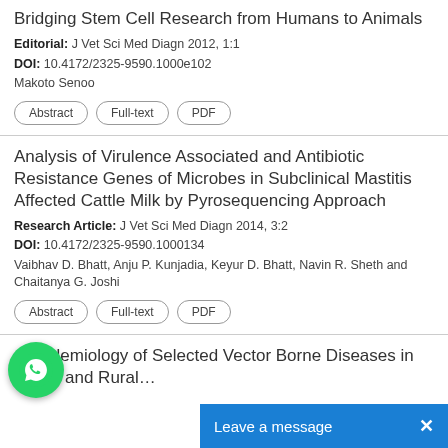Bridging Stem Cell Research from Humans to Animals
Editorial: J Vet Sci Med Diagn 2012, 1:1
DOI: 10.4172/2325-9590.1000e102
Makoto Senoo
Abstract | Full-text | PDF
Analysis of Virulence Associated and Antibiotic Resistance Genes of Microbes in Subclinical Mastitis Affected Cattle Milk by Pyrosequencing Approach
Research Article: J Vet Sci Med Diagn 2014, 3:2
DOI: 10.4172/2325-9590.1000134
Vaibhav D. Bhatt, Anju P. Kunjadia, Keyur D. Bhatt, Navin R. Sheth and Chaitanya G. Joshi
Abstract | Full-text | PDF
...epidemiology of Selected Vector Borne Diseases in Urban and Rural...